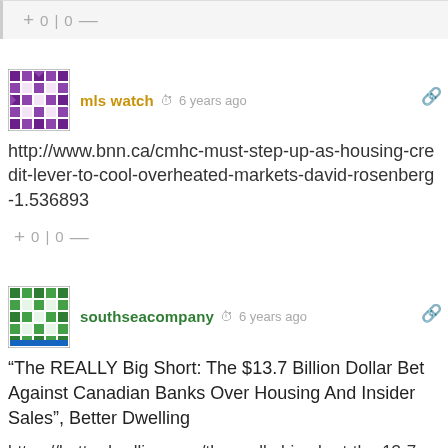+ 0 | 0 —
[Figure (illustration): Purple geometric/mosaic avatar icon for user 'mls watch']
mls watch  6 years ago
http://www.bnn.ca/cmhc-must-step-up-as-housing-credit-lever-to-cool-overheated-markets-david-rosenberg-1.536893
+ 0 | 0 —
[Figure (illustration): Green geometric/mosaic avatar icon for user 'southseacompany']
southseacompany  6 years ago
“The REALLY Big Short: The $13.7 Billion Dollar Bet Against Canadian Banks Over Housing And Insider Sales”, Better Dwelling
https://betterdwelling.com/the-really-big-short-the-13-7-